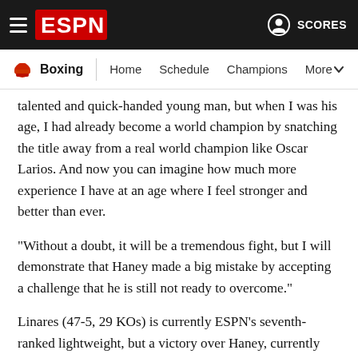ESPN Boxing - Home Schedule Champions More | SCORES
talented and quick-handed young man, but when I was his age, I had already become a world champion by snatching the title away from a real world champion like Oscar Larios. And now you can imagine how much more experience I have at an age where I feel stronger and better than ever.
"Without a doubt, it will be a tremendous fight, but I will demonstrate that Haney made a big mistake by accepting a challenge that he is still not ready to overcome."
Linares (47-5, 29 KOs) is currently ESPN's seventh-ranked lightweight, but a victory over Haney, currently No. 5, would certainly be an upset. Haney has outlanded opponents for 53 consecutive rounds, per ESPN Stats & Information. In fact, the